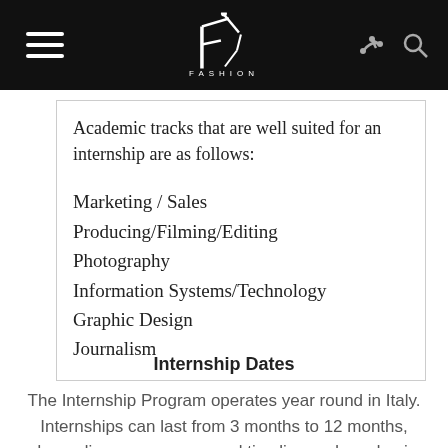FASHION
Academic tracks that are well suited for an internship are as follows:
Marketing / Sales
Producing/Filming/Editing
Photography
Information Systems/Technology
Graphic Design
Journalism
Internship Dates
The Internship Program operates year round in Italy. Internships can last from 3 months to 12 months, depending on your personal timeline and academic requirements: